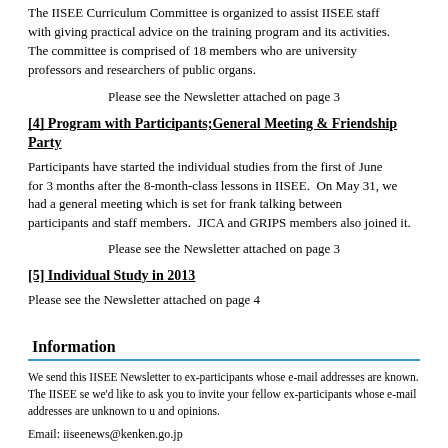The IISEE Curriculum Committee is organized to assist IISEE staff with giving practical advice on the training program and its activities. The committee is comprised of 18 members who are university professors and researchers of public organs.
Please see the Newsletter attached on page 3
[4] Program with Participants;General Meeting & Friendship Party
Participants have started the individual studies from the first of June for 3 months after the 8-month-class lessons in IISEE.  On May 31, we had a general meeting which is set for frank talking between participants and staff members.  JICA and GRIPS members also joined it.
Please see the Newsletter attached on page 3
[5] Individual Study in 2013
Please see the Newsletter attached on page 4
Information
We send this IISEE Newsletter to ex-participants whose e-mail addresses are known. The IISEE se we'd like to ask you to invite your fellow ex-participants whose e-mail addresses are unknown to u and opinions.
Email: iiseenews@kenken.go.jp
website: http://iisee.kenken.go.jp